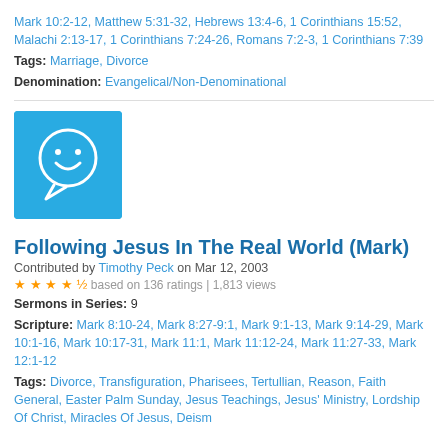Mark 10:2-12, Matthew 5:31-32, Hebrews 13:4-6, 1 Corinthians 15:52, Malachi 2:13-17, 1 Corinthians 7:24-26, Romans 7:2-3, 1 Corinthians 7:39
Tags: Marriage, Divorce
Denomination: Evangelical/Non-Denominational
[Figure (illustration): Blue square with white smiley face speech bubble icon]
Following Jesus In The Real World (Mark)
Contributed by Timothy Peck on Mar 12, 2003
4.5 stars based on 136 ratings | 1,813 views
Sermons in Series: 9
Scripture: Mark 8:10-24, Mark 8:27-9:1, Mark 9:1-13, Mark 9:14-29, Mark 10:1-16, Mark 10:17-31, Mark 11:1, Mark 11:12-24, Mark 11:27-33, Mark 12:1-12
Tags: Divorce, Transfiguration, Pharisees, Tertullian, Reason, Faith General, Easter Palm Sunday, Jesus Teachings, Jesus' Ministry, Lordship Of Christ, Miracles Of Jesus, Deism